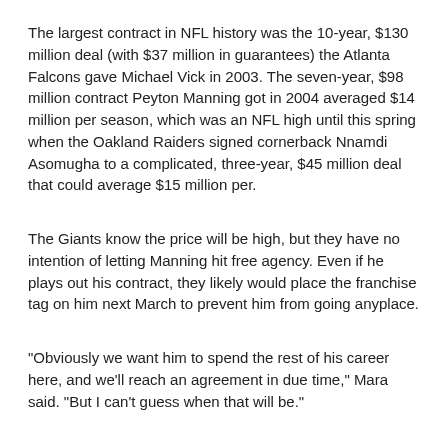The largest contract in NFL history was the 10-year, $130 million deal (with $37 million in guarantees) the Atlanta Falcons gave Michael Vick in 2003. The seven-year, $98 million contract Peyton Manning got in 2004 averaged $14 million per season, which was an NFL high until this spring when the Oakland Raiders signed cornerback Nnamdi Asomugha to a complicated, three-year, $45 million deal that could average $15 million per.
The Giants know the price will be high, but they have no intention of letting Manning hit free agency. Even if he plays out his contract, they likely would place the franchise tag on him next March to prevent him from going anyplace.
"Obviously we want him to spend the rest of his career here, and we'll reach an agreement in due time," Mara said. "But I can't guess when that will be."